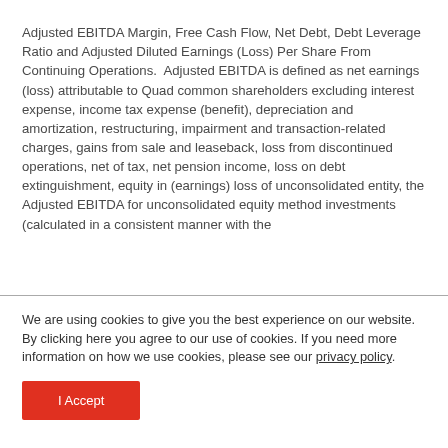Adjusted EBITDA Margin, Free Cash Flow, Net Debt, Debt Leverage Ratio and Adjusted Diluted Earnings (Loss) Per Share From Continuing Operations.  Adjusted EBITDA is defined as net earnings (loss) attributable to Quad common shareholders excluding interest expense, income tax expense (benefit), depreciation and amortization, restructuring, impairment and transaction-related charges, gains from sale and leaseback, loss from discontinued operations, net of tax, net pension income, loss on debt extinguishment, equity in (earnings) loss of unconsolidated entity, the Adjusted EBITDA for unconsolidated equity method investments (calculated in a consistent manner with the
We are using cookies to give you the best experience on our website.
By clicking here you agree to our use of cookies. If you need more information on how we use cookies, please see our privacy policy.
I Accept